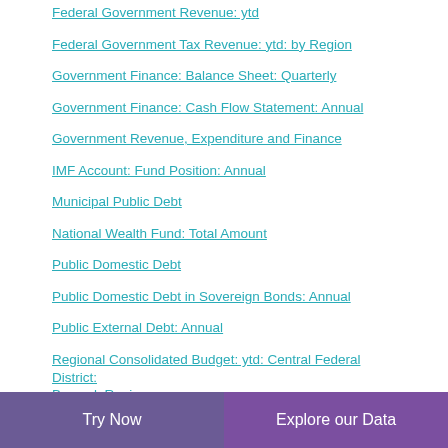Federal Government Revenue: ytd
Federal Government Tax Revenue: ytd: by Region
Government Finance: Balance Sheet: Quarterly
Government Finance: Cash Flow Statement: Annual
Government Revenue, Expenditure and Finance
IMF Account: Fund Position: Annual
Municipal Public Debt
National Wealth Fund: Total Amount
Public Domestic Debt
Public Domestic Debt in Sovereign Bonds: Annual
Public External Debt: Annual
Regional Consolidated Budget: ytd: Central Federal District: Bryansk Region
Regional Consolidated Budget: ytd: Central Federal District:
Try Now    Explore our Data